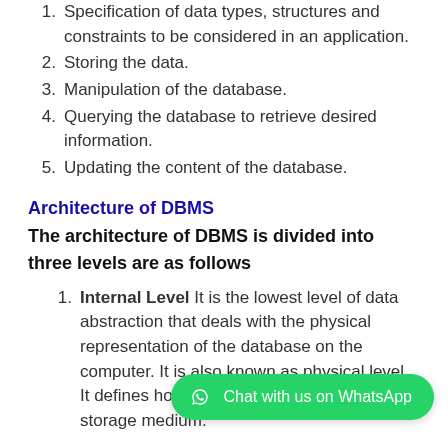1. Specification of data types, structures and constraints to be considered in an application.
2. Storing the data.
3. Manipulation of the database.
4. Querying the database to retrieve desired information.
5. Updating the content of the database.
Architecture of DBMS
The architecture of DBMS is divided into three levels are as follows
1. Internal Level It is the lowest level of data abstraction that deals with the physical representation of the database on the computer. It is also known as physical level. It defines how the data is organised on the storage medium.